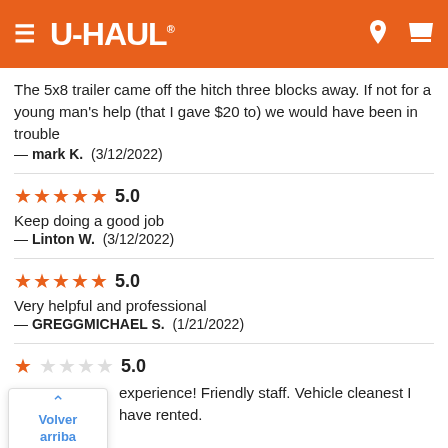U-HAUL
The 5x8 trailer came off the hitch three blocks away. If not for a young man's help (that I gave $20 to) we would have been in trouble — mark K.  (3/12/2022)
5.0
Keep doing a good job
— Linton W.  (3/12/2022)
5.0
Very helpful and professional
— GREGGMICHAEL S.  (1/21/2022)
5.0
Very good experience! Friendly staff. Vehicle cleanest I have rented.
Gracias
— GREGORY B.  (1/11/2022)